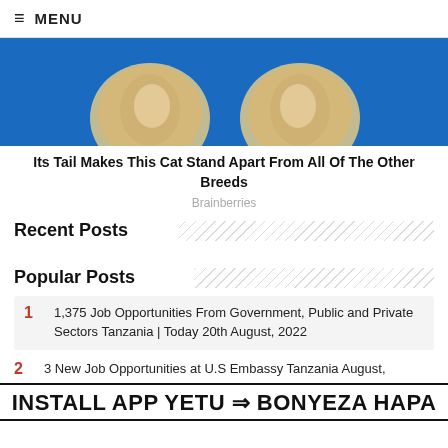≡ MENU
[Figure (photo): Close-up photo of a cat's paws/fur against a blue background, showing the underside of the cat]
Its Tail Makes This Cat Stand Apart From All Of The Other Breeds
Brainberries
Recent Posts
Popular Posts
1  1,375 Job Opportunities From Government, Public and Private Sectors Tanzania | Today 20th August, 2022
2  3 New Job Opportunities at U.S Embassy Tanzania August,
INSTALL APP YETU ⇒ BONYEZA HAPA